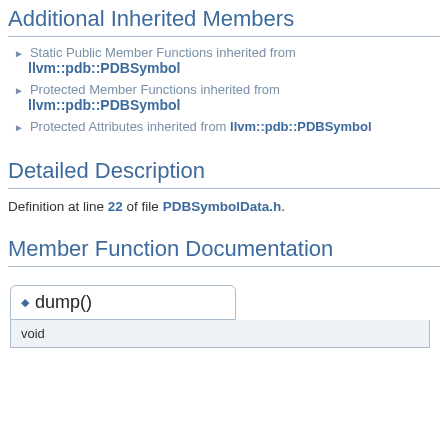Additional Inherited Members
Static Public Member Functions inherited from llvm::pdb::PDBSymbol
Protected Member Functions inherited from llvm::pdb::PDBSymbol
Protected Attributes inherited from llvm::pdb::PDBSymbol
Detailed Description
Definition at line 22 of file PDBSymbolData.h.
Member Function Documentation
dump()
void